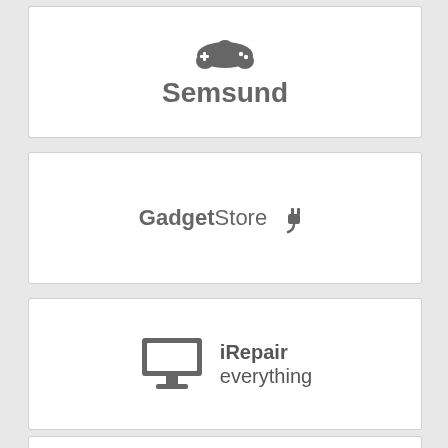[Figure (logo): Semsund logo with game controller icon above bold text 'Semsund']
[Figure (logo): GadgetStore logo with bold 'Gadget' and regular 'Store' text followed by a plug icon]
[Figure (logo): iRepair everything logo with a desktop monitor icon on the left and bold 'iRepair' with lighter 'everything' text on the right]
[Figure (logo): Partial fourth logo card visible at bottom edge]